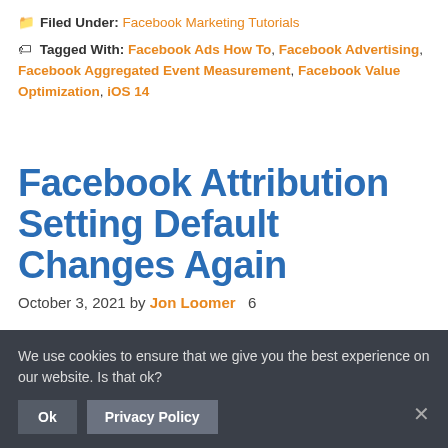📁 Filed Under: Facebook Marketing Tutorials
🏷 Tagged With: Facebook Ads How To, Facebook Advertising, Facebook Aggregated Event Measurement, Facebook Value Optimization, iOS 14
Facebook Attribution Setting Default Changes Again
October 3, 2021 by Jon Loomer  6
We use cookies to ensure that we give you the best experience on our website. Is that ok?